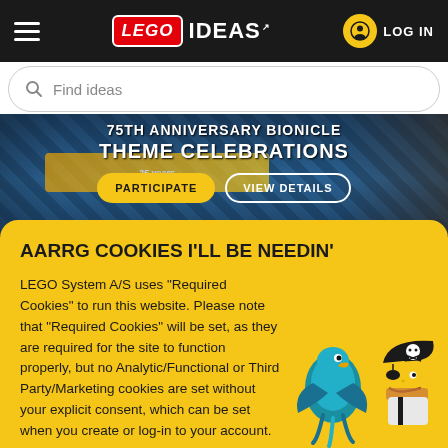LEGO IDEAS
Find ideas
[Figure (screenshot): LEGO Ideas website hero banner showing '75TH ANNIVERSARY BIONICLE THEME CELEBRATIONS' with PARTICIPATE and VIEW DETAILS buttons over a dark blue background with castle imagery]
AARRG COOKIES I'LL BE NEEDIN'
LEGO System A/S uses "Required Cookies" to run this website. Please note that "Required Cookies" will be set, as they are required for the site to function properly, but no Analytic/Functional or Third Party/Marketing cookies are set without your explicit consent, which can be set when you create or log-in to your account.